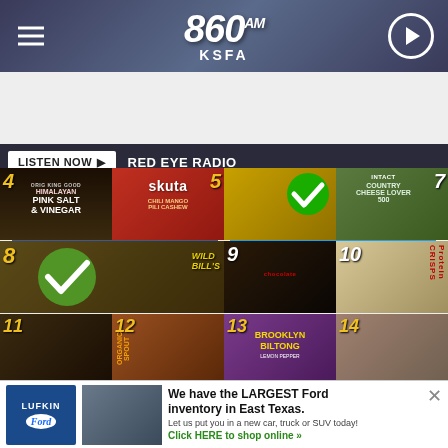860AM KSFA
LISTEN NOW ▶ RED EYE RADIO
Share  Tweet
[Figure (photo): Grid of numbered snack product photos: 4 - Pink Salt & Vinegar chips, 5 - Skuta Chili Mango chips, 6 - Cookies with green checkmark, 7 - Intact Cheese Lover, 8 - Wild Bills jerky with green checkmark, 9 - Chocolate bar, 10 - Protein Crisps, 11 - snack bar, 12 - Organic Spout, 13 - Brooklyn Biltong Lemon Pepper, 14 - snack bar]
We have the LARGEST Ford inventory in East Texas. Let us put you in a new car, truck or SUV today! Click HERE to shop online »